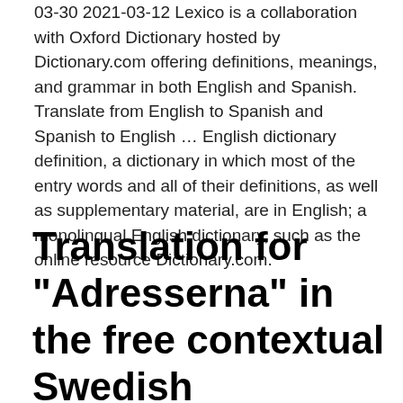03-30 2021-03-12 Lexico is a collaboration with Oxford Dictionary hosted by Dictionary.com offering definitions, meanings, and grammar in both English and Spanish. Translate from English to Spanish and Spanish to English … English dictionary definition, a dictionary in which most of the entry words and all of their definitions, as well as supplementary material, are in English; a monolingual English dictionary, such as the online resource Dictionary.com.
Translation for "Adresserna" in the free contextual Swedish